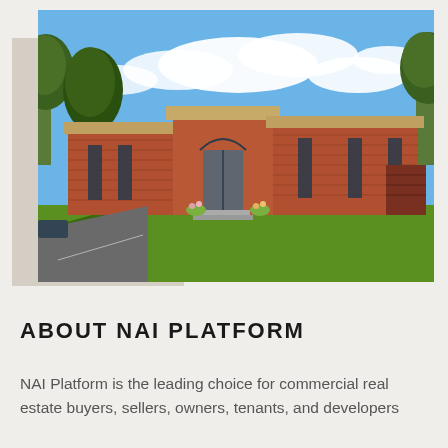[Figure (photo): Exterior photograph of a modern brick commercial building with flat roofs, large glass entrance, surrounded by green lawn and trees under a blue sky with clouds.]
ABOUT NAI PLATFORM
NAI Platform is the leading choice for commercial real estate buyers, sellers, owners, tenants, and developers